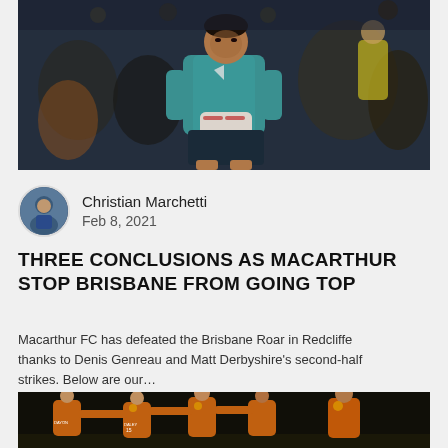[Figure (photo): Goalkeeper in teal/blue jersey holding gloves, looking frustrated, crowd in background]
Christian Marchetti
Feb 8, 2021
THREE CONCLUSIONS AS MACARTHUR STOP BRISBANE FROM GOING TOP
Macarthur FC has defeated the Brisbane Roar in Redcliffe thanks to Denis Genreau and Matt Derbyshire's second-half strikes. Below are our…
[Figure (photo): Brisbane Roar players in orange jerseys celebrating together]